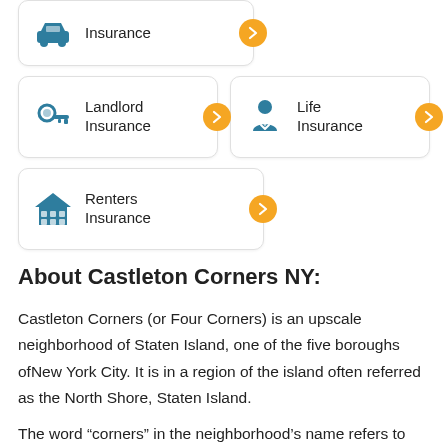[Figure (infographic): Card with car/auto insurance icon (teal) and orange arrow button, partially visible at top]
[Figure (infographic): Card with key icon (teal) labeled Landlord Insurance and orange arrow button]
[Figure (infographic): Card with person/life icon (teal) labeled Life Insurance and orange arrow button]
[Figure (infographic): Card with house/building icon (teal) labeled Renters Insurance and orange arrow button]
About Castleton Corners NY:
Castleton Corners (or Four Corners) is an upscale neighborhood of Staten Island, one of the five boroughs ofNew York City. It is in a region of the island often referred as the North Shore, Staten Island.
The word “corners” in the neighborhood’s name refers to the intersection of Victory Boulevard and Manor Road